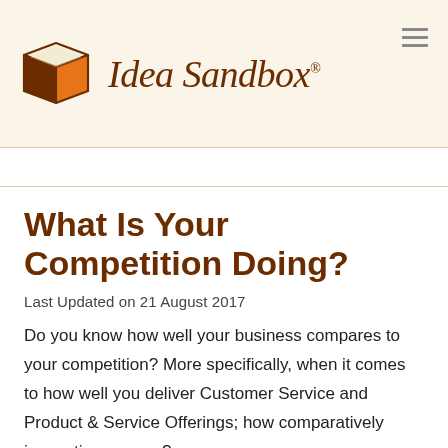[Figure (logo): Idea Sandbox logo: a stylized box illustration with brown outline, orange and brown fill, alongside the script text 'Idea Sandbox®' in dark brown italic. A hamburger menu icon appears top right.]
What Is Your Competition Doing?
Last Updated on 21 August 2017
Do you know how well your business compares to your competition? More specifically, when it comes to how well you deliver Customer Service and Product & Service Offerings; how comparatively innovative you are?